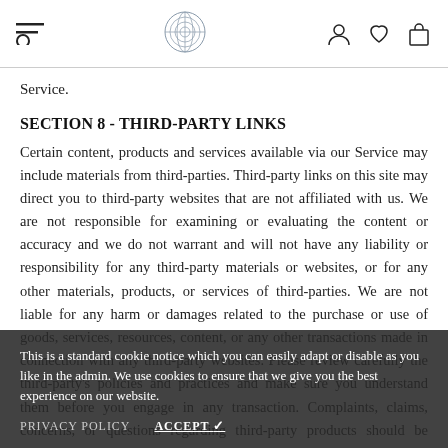Navigation bar with menu, logo, user, wishlist, and cart icons
Service.
SECTION 8 - THIRD-PARTY LINKS
Certain content, products and services available via our Service may include materials from third-parties. Third-party links on this site may direct you to third-party websites that are not affiliated with us. We are not responsible for examining or evaluating the content or accuracy and we do not warrant and will not have any liability or responsibility for any third-party materials or websites, or for any other materials, products, or services of third-parties. We are not liable for any harm or damages related to the purchase or use of goods, services, resources, content, or any other transactions made in connection with any third-party websites. Please review carefully the third-party's policies and practices and make sure you understand them before you engage in any transaction. Complaints, claims, concerns, or questions regarding third-party products should be directed to the third-party.
This is a standard cookie notice which you can easily adapt or disable as you like in the admin. We use cookies to ensure that we give you the best experience on our website.
PRIVACY POLICY   ACCEPT ✓